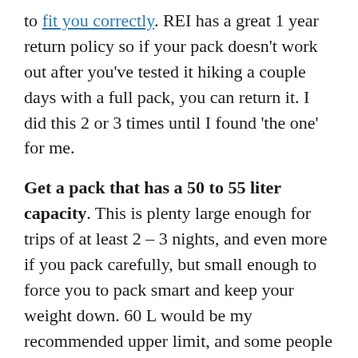to fit you correctly. REI has a great 1 year return policy so if your pack doesn't work out after you've tested it hiking a couple days with a full pack, you can return it. I did this 2 or 3 times until I found 'the one' for me.
Get a pack that has a 50 to 55 liter capacity. This is plenty large enough for trips of at least 2 – 3 nights, and even more if you pack carefully, but small enough to force you to pack smart and keep your weight down. 60 L would be my recommended upper limit, and some people might be able to get by with 40 – 45 liters, but 50 – 55 L is my preferred starting point. Many manufacturers make slightly different packs for men vs women to accommodate for differences in hips, etc.